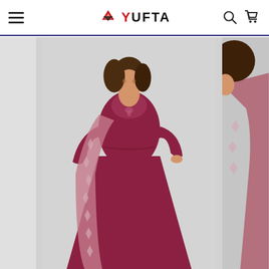YUFTA — Navigation header with hamburger menu, logo, search and cart icons
[Figure (photo): E-commerce product page for Yufta fashion brand. Main image shows a woman wearing a maroon/wine-colored anarkali kurta set with a printed dupatta with diamond/ikat pattern, 3/4 sleeves, keyhole neckline. Gray background. Left side shows a partial gray thumbnail panel. Right edge shows a partial second photo of the same outfit from a different angle or detail shot.]